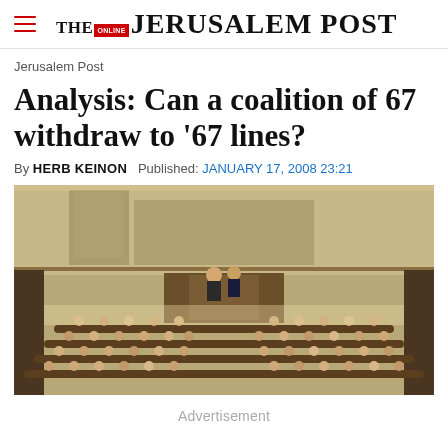THE JERUSALEM POST
Jerusalem Post
Analysis: Can a coalition of 67 withdraw to '67 lines?
By HERB KEINON   Published: JANUARY 17, 2008 23:21
[Figure (photo): Interior view of the Israeli Knesset (parliament) chamber showing members seated at curved wooden desks in a semicircular arrangement, with a speaker's podium at the front and gallery overhead.]
Advertisement